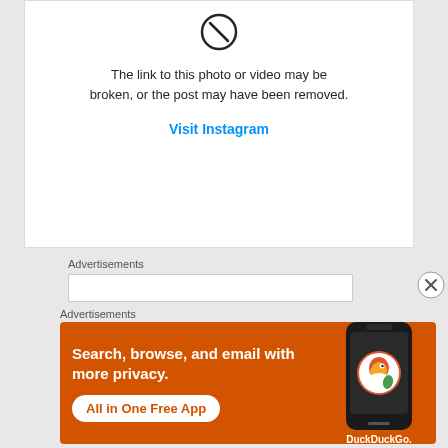[Figure (screenshot): Instagram broken embed box showing a broken image icon, error message, and Visit Instagram link]
The link to this photo or video may be broken, or the post may have been removed.
Visit Instagram
Advertisements
Advertisements
[Figure (screenshot): DuckDuckGo advertisement banner: Search, browse, and email with more privacy. All in One Free App. DuckDuckGo.]